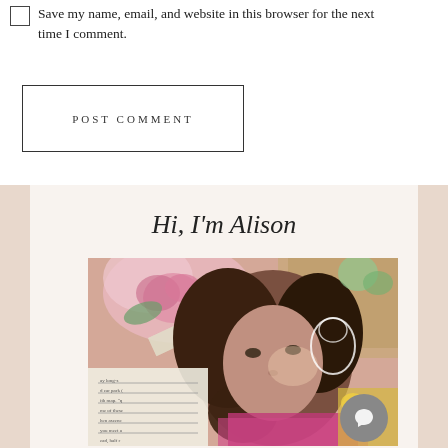Save my name, email, and website in this browser for the next time I comment.
POST COMMENT
Hi, I'm Alison
[Figure (photo): Portrait photo of Alison with curly dark hair, surrounded by a collage of flowers and paper scraps. A chat/comment bubble icon is visible in the lower right.]